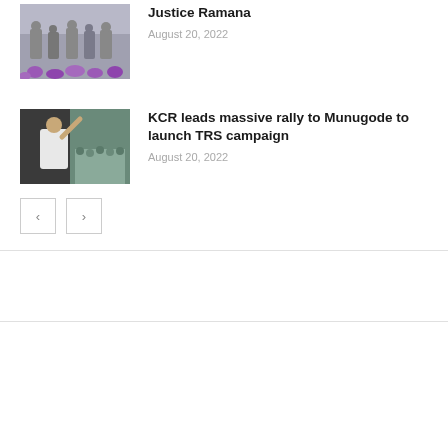[Figure (photo): Group photo with purple flowers in foreground]
Justice Ramana
August 20, 2022
[Figure (photo): Man in white shirt waving from vehicle]
KCR leads massive rally to Munugode to launch TRS campaign
August 20, 2022
< >